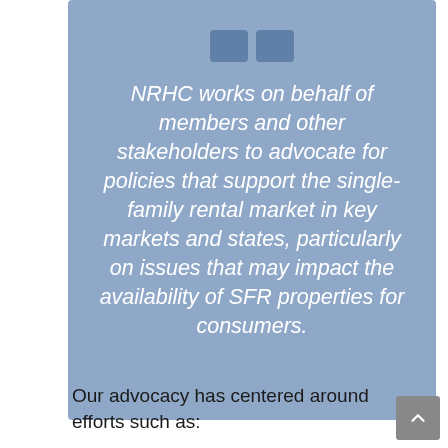[Figure (illustration): Light blue rounded box with quote icon at top and italic white text describing NRHC advocacy for single-family rental market]
Our advocacy has centered around efforts such as: